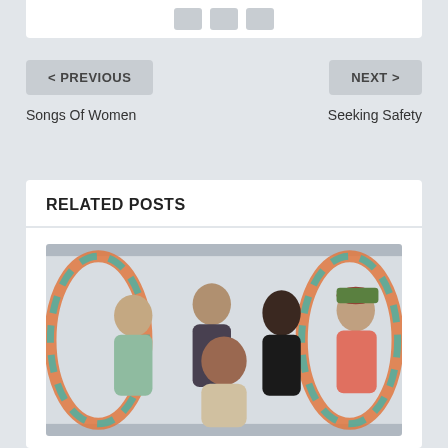[Figure (other): Three small icon/button placeholders in a white bar at the top]
< PREVIOUS
NEXT >
Songs Of Women
Seeking Safety
RELATED POSTS
[Figure (photo): Group photo of five people (two women, one man with glasses, one woman with dark curly hair, one man with a red baseball cap) posed together with ropes visible in the background]
Games People Play